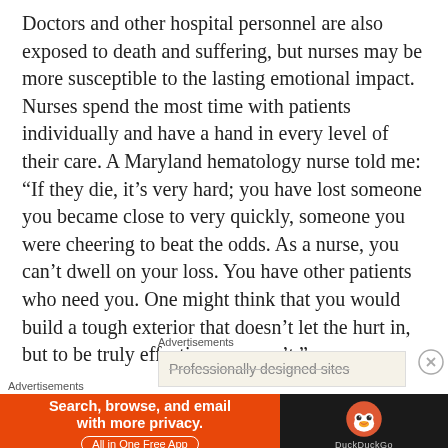Doctors and other hospital personnel are also exposed to death and suffering, but nurses may be more susceptible to the lasting emotional impact. Nurses spend the most time with patients individually and have a hand in every level of their care. A Maryland hematology nurse told me: “If they die, it’s very hard; you have lost someone you became close to very quickly, someone you were cheering to beat the odds. As a nurse, you can’t dwell on your loss. You have other patients who need you. One might think that you would build a tough exterior that doesn’t let the hurt in, but to be truly effective, you can’t.”
Advertisements
[Figure (screenshot): Advertisement placeholder box with partially visible text 'Professionally designed sites']
Advertisements
[Figure (screenshot): DuckDuckGo advertisement banner: orange section with text 'Search, browse, and email with more privacy. All in One Free App' and dark section with DuckDuckGo duck logo and 'DuckDuckGo' text]